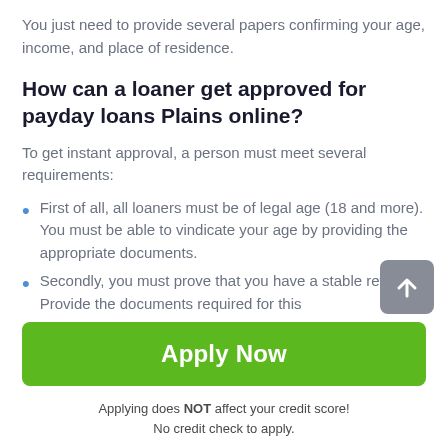You just need to provide several papers confirming your age, income, and place of residence.
How can a loaner get approved for payday loans Plains online?
To get instant approval, a person must meet several requirements:
First of all, all loaners must be of legal age (18 and more). You must be able to vindicate your age by providing the appropriate documents.
Secondly, you must prove that you have a stable revenue. Provide the documents required for this
Apply Now
Applying does NOT affect your credit score!
No credit check to apply.